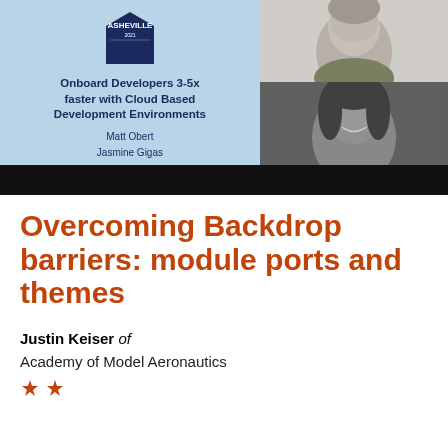[Figure (screenshot): Conference video thumbnail showing 'Onboard Developers 3-5x faster with Cloud Based Development Environments' talk by Matt Obert and Jasmine Gigas, sponsored by Daggerhart Lab, with ASHEVILLE badge and two speaker portrait photos]
Overcoming Backdrop barriers: module ports and themes
Justin Keiser of
Academy of Model Aeronautics